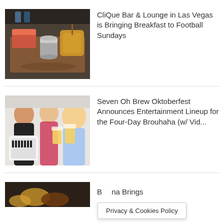[Figure (photo): Food photo showing breakfast items on a wooden board with a metal cup and various food items]
CliQue Bar & Lounge in Las Vegas is Bringing Breakfast to Football Sundays
[Figure (photo): Photo of three women in Oktoberfest attire holding beer mugs, one playing an accordion]
Seven Oh Brew Oktoberfest Announces Entertainment Lineup for the Four-Day Brouhaha (w/ Vid...
[Figure (photo): Partial photo of food items]
B... na Brings
Privacy & Cookies Policy